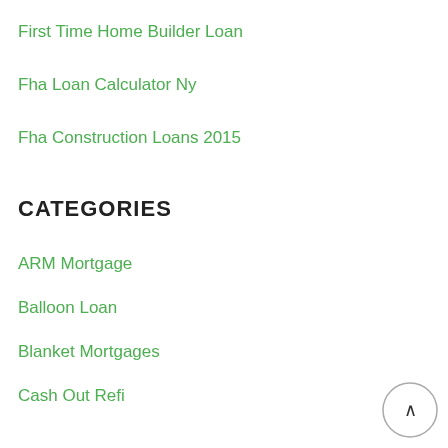First Time Home Builder Loan
Fha Loan Calculator Ny
Fha Construction Loans 2015
CATEGORIES
ARM Mortgage
Balloon Loan
Blanket Mortgages
Cash Out Refi
Commercial Mortgage
Commercial Mortgage Refinancing